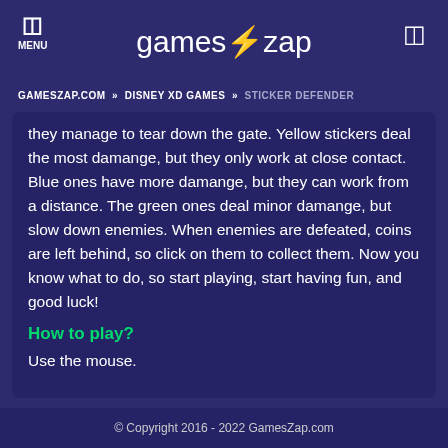MENU | games⚡zap
GAMESZAP.COM » DISNEY XD GAMES » STICKER DEFENDER
they manage to tear down the gate. Yellow stickers deal the most damange, but they only work at close contact. Blue ones have more damange, but they can work from a distance. The green ones deal minor damange, but slow down enemies. When enemies are defeated, coins are left behind, so click on them to collect them. Now you know what to do, so start playing, start having fun, and good luck!
How to play?
Use the mouse.
© Copyright 2016 - 2022 GamesZap.com